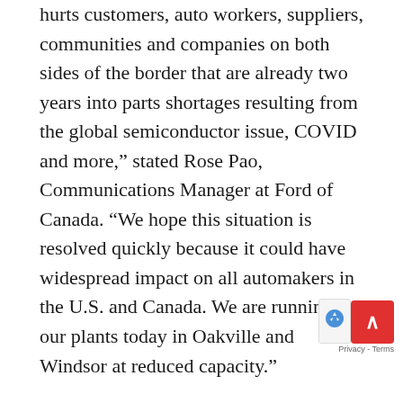hurts customers, auto workers, suppliers, communities and companies on both sides of the border that are already two years into parts shortages resulting from the global semiconductor issue, COVID and more,” stated Rose Pao, Communications Manager at Ford of Canada. “We hope this situation is resolved quickly because it could have widespread impact on all automakers in the U.S. and Canada. We are running our plants today in Oakville and Windsor at reduced capacity.”
Prior to Valentine’s Day, you couldn’t get industry spokespeople to formally weigh in on the potential ramifications of the Ambassador Bridge blockade even if you bribed them. Now